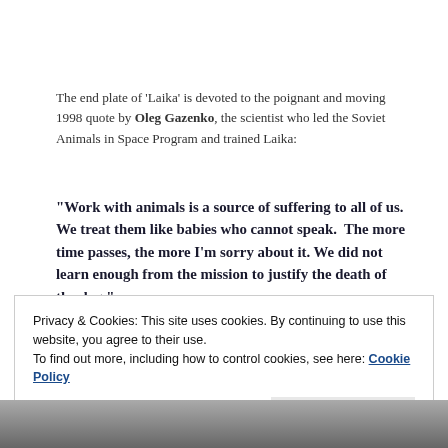The end plate of 'Laika' is devoted to the poignant and moving 1998 quote by Oleg Gazenko, the scientist who led the Soviet Animals in Space Program and trained Laika:
“Work with animals is a source of suffering to all of us. We treat them like babies who cannot speak. The more time passes, the more I’m sorry about it. We did not learn enough from the mission to justify the death of the dog.”
Privacy & Cookies: This site uses cookies. By continuing to use this website, you agree to their use.
To find out more, including how to control cookies, see here: Cookie Policy
[Figure (photo): Black and white photo strip at the bottom of the page, partially visible]